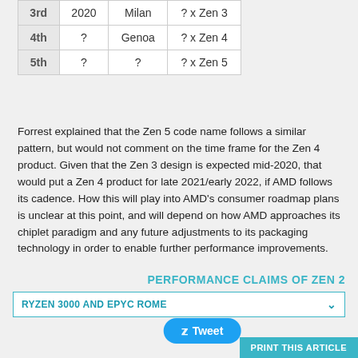| Generation | Year | Codename | Config |
| --- | --- | --- | --- |
| 3rd | 2020 | Milan | ? x Zen 3 |
| 4th | ? | Genoa | ? x Zen 4 |
| 5th | ? | ? | ? x Zen 5 |
Forrest explained that the Zen 5 code name follows a similar pattern, but would not comment on the time frame for the Zen 4 product. Given that the Zen 3 design is expected mid-2020, that would put a Zen 4 product for late 2021/early 2022, if AMD follows its cadence. How this will play into AMD’s consumer roadmap plans is unclear at this point, and will depend on how AMD approaches its chiplet paradigm and any future adjustments to its packaging technology in order to enable further performance improvements.
PERFORMANCE CLAIMS OF ZEN 2
RYZEN 3000 AND EPYC ROME
[Figure (other): Tweet button]
PRINT THIS ARTICLE